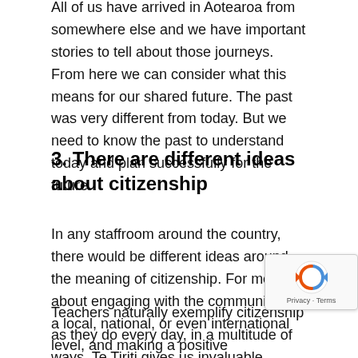All of us have arrived in Aotearoa from somewhere else and we have important stories to tell about those journeys. From here we can consider what this means for our shared future. The past was very different from today. But we need to know the past to understand today and plan successfully for the future.
3. There are different ideas about citizenship
In any staffroom around the country, there would be different ideas around the meaning of citizenship. For me, it's about engaging with the community on a local, national, or even international level, and making a positive contribution, no matter how small.
Teachers naturally exemplify citizenship as they do every day, in a multitude of ways. Te Tiriti gives us invaluable opportunity to ask questions about the